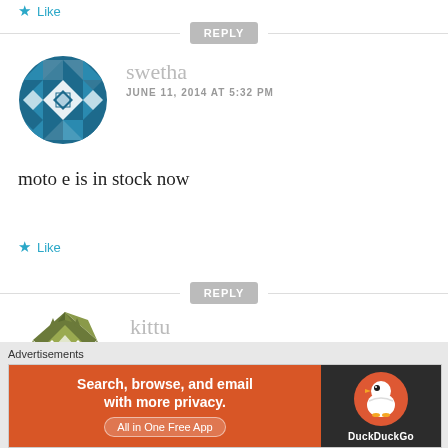Like
REPLY
[Figure (illustration): Geometric teal/blue mosaic circle avatar for user swetha]
swetha
JUNE 11, 2014 AT 5:32 PM
moto e is in stock now
Like
REPLY
[Figure (illustration): Olive/dark green geometric low-poly hedgehog avatar for user kittu]
kittu
JUNE 11, 2014 AT 5:54 PM
Advertisements
[Figure (screenshot): DuckDuckGo advertisement banner: orange left side with text 'Search, browse, and email with more privacy. All in One Free App', dark right side with DuckDuckGo duck logo]